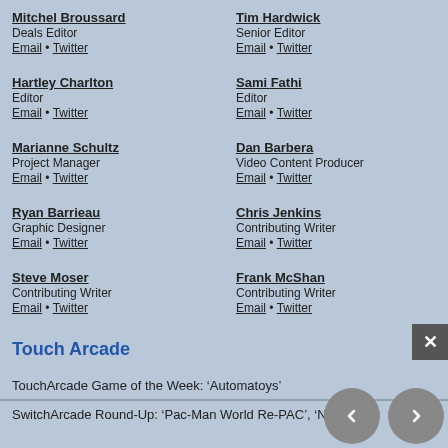Mitchel Broussard
Deals Editor
Email • Twitter
Tim Hardwick
Senior Editor
Email • Twitter
Hartley Charlton
Editor
Email • Twitter
Sami Fathi
Editor
Email • Twitter
Marianne Schultz
Project Manager
Email • Twitter
Dan Barbera
Video Content Producer
Email • Twitter
Ryan Barrieau
Graphic Designer
Email • Twitter
Chris Jenkins
Contributing Writer
Email • Twitter
Steve Moser
Contributing Writer
Email • Twitter
Frank McShan
Contributing Writer
Email • Twitter
Touch Arcade
TouchArcade Game of the Week: ‘Automatoys’
SwitchArcade Round-Up: ‘Pac-Man World Re-PAC’, ‘NHRA